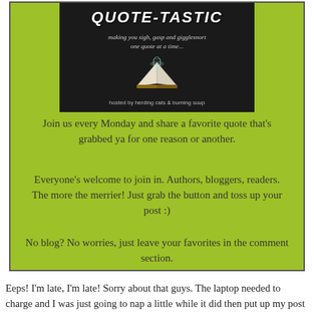[Figure (illustration): Quote-Tastic banner: dark background with an open glowing book emitting smoke/light, text 'QUOTE-TASTIC making you sigh, gasp and gigglesnort one quote at a time... hosted by herding cats & burning soup']
Join us every Monday and share a favorite quote that's grabbed ya for one reason or another.
Everyone's welcome to join in. Authors, bloggers, readers. The more the merrier! Just grab the button and toss up your post :)
No blog? No worries, just leave your favorites in the comment section.
Eeps! I'm late, I'm late! Sorry about that guys. The laptop needed to charge and I was just going to nap a little while it did then put up my post and, well, 8 hours later... lol Anywho. Today's Quote-tastic...